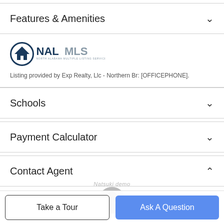Features & Amenities
[Figure (logo): NAL MLS - North Alabama Multiple Listing Service logo]
Listing provided by Exp Realty, Llc - Northern Br: [OFFICEPHONE].
Schools
Payment Calculator
Contact Agent
[Figure (photo): Circular agent profile photo, partially visible at bottom]
Take a Tour
Ask A Question